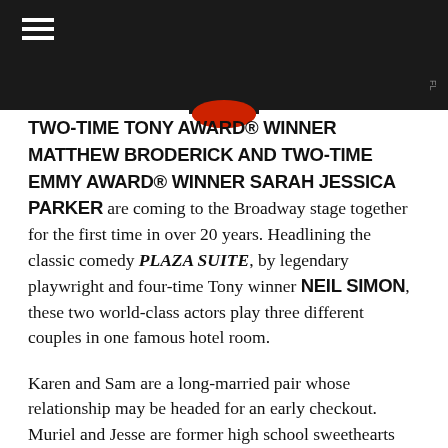[Figure (other): Dark header bar with hamburger menu icon (three white lines) on left, partial red logo graphic at center-bottom of bar, and small FL badge at far right]
TWO-TIME TONY AWARD® WINNER MATTHEW BRODERICK AND TWO-TIME EMMY AWARD® WINNER SARAH JESSICA PARKER are coming to the Broadway stage together for the first time in over 20 years. Headlining the classic comedy PLAZA SUITE, by legendary playwright and four-time Tony winner NEIL SIMON, these two world-class actors play three different couples in one famous hotel room.
Karen and Sam are a long-married pair whose relationship may be headed for an early checkout. Muriel and Jesse are former high school sweethearts who seem destined for an extended stay. And Norma and Roy are the mother and father of the bride, ready to celebrate their daughter's